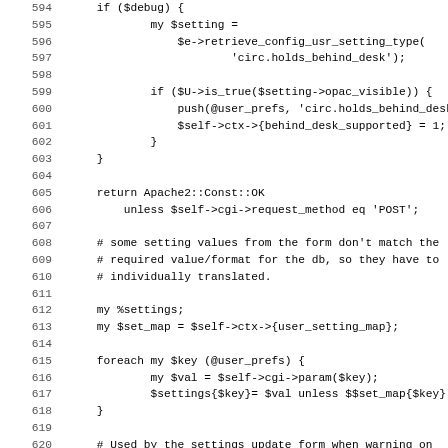[Figure (screenshot): Source code listing in monospace font showing Perl code lines 594-626, with line numbers on the left and code on the right. The code shows configuration retrieval, user preferences handling, settings mapping, and history warning logic.]